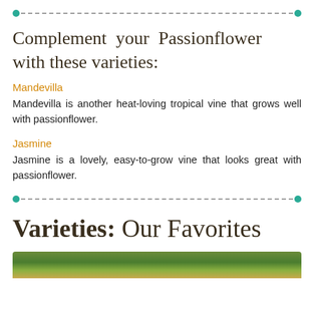Complement your Passionflower with these varieties:
Mandevilla
Mandevilla is another heat-loving tropical vine that grows well with passionflower.
Jasmine
Jasmine is a lovely, easy-to-grow vine that looks great with passionflower.
Varieties: Our Favorites
[Figure (photo): Partial photo strip of plant/flower image at bottom of page]